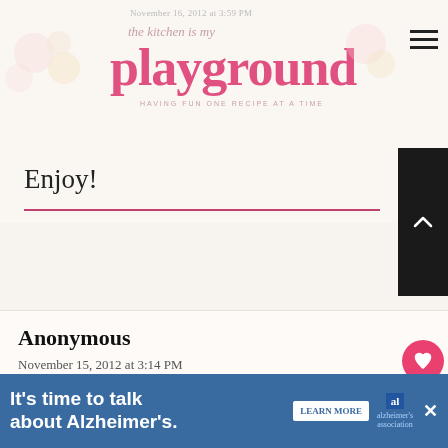The Kitchen is my Playground — November 16, 2012 at 3:59 PM — about 30 cookies.
Enjoy!
Anonymous
November 15, 2012 at 3:14 PM
Do you think if I added less cream to the Carmel it would stiffen up more? I was thinking of making these for a cookie exchange and with the amount I have to make, they would have to be
[Figure (other): Alzheimer's awareness advertisement banner with text 'It's time to talk about Alzheimer's.' and Learn More button]